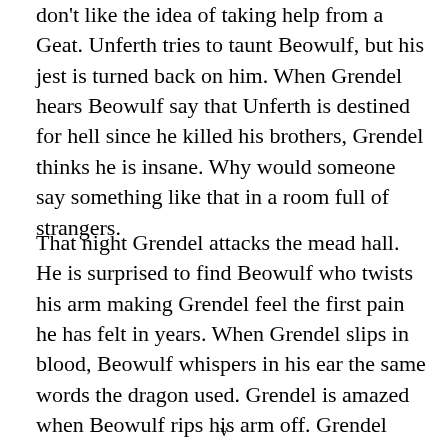don't like the idea of taking help from a Geat. Unferth tries to taunt Beowulf, but his jest is turned back on him. When Grendel hears Beowulf say that Unferth is destined for hell since he killed his brothers, Grendel thinks he is insane. Why would someone say something like that in a room full of strangers.
That night Grendel attacks the mead hall. He is surprised to find Beowulf who twists his arm making Grendel feel the first pain he has felt in years. When Grendel slips in blood, Beowulf whispers in his ear the same words the dragon used. Grendel is amazed when Beowulf rips his arm off. Grendel runs from the battle. He runs to his mother, telling her what happened.
v